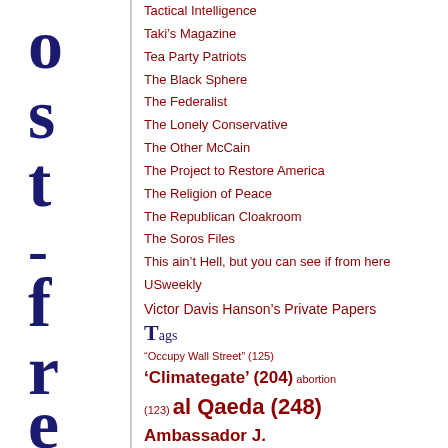Tactical Intelligence
Taki's Magazine
Tea Party Patriots
The Black Sphere
The Federalist
The Lonely Conservative
The Other McCain
The Project to Restore America
The Religion of Peace
The Republican Cloakroom
The Soros Files
This ain’t Hell, but you can see if from here
USweekly
Victor Davis Hanson’s Private Papers
Tags
“Occupy Wall Street” (125) ‘Climategate’ (204) abortion (123) al Qaeda (248) Ambassador J. Christopher Stevens (200) amnesty (229)